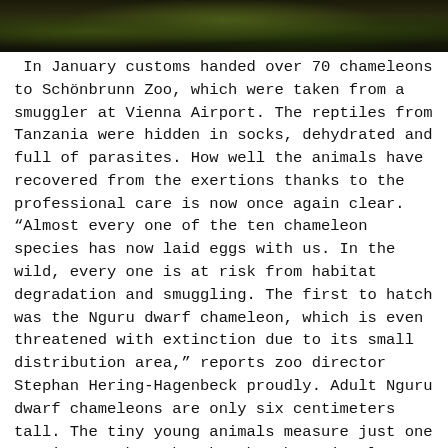[Figure (photo): Dark green foliage photograph strip at the top of the page]
In January customs handed over 70 chameleons to Schönbrunn Zoo, which were taken from a smuggler at Vienna Airport. The reptiles from Tanzania were hidden in socks, dehydrated and full of parasites. How well the animals have recovered from the exertions thanks to the professional care is now once again clear. “Almost every one of the ten chameleon species has now laid eggs with us. In the wild, every one is at risk from habitat degradation and smuggling. The first to hatch was the Nguru dwarf chameleon, which is even threatened with extinction due to its small distribution area,” reports zoo director Stephan Hering-Hagenbeck proudly. Adult Nguru dwarf chameleons are only six centimeters tall. The tiny young animals measure just one centimeter when they hatch. There is also half a centimeter of tail.